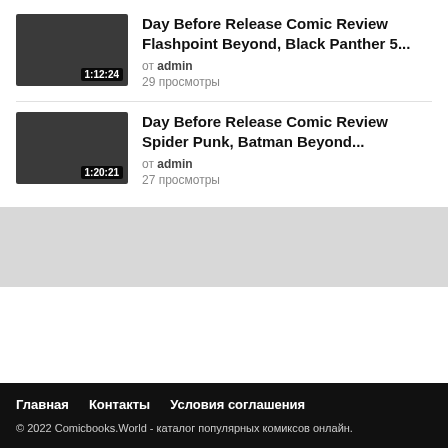[Figure (screenshot): Video thumbnail - dark gray rectangle with duration badge 1:12:24]
Day Before Release Comic Review Flashpoint Beyond, Black Panther 5… от admin 29 просмотры
[Figure (screenshot): Video thumbnail - dark gray rectangle with duration badge 1:20:21]
Day Before Release Comic Review Spider Punk, Batman Beyond… от admin 27 просмотры
Главная   Контакты   Условия соглашения
© 2022 Comicbooks.World - каталог популярных комиксов онлайн.